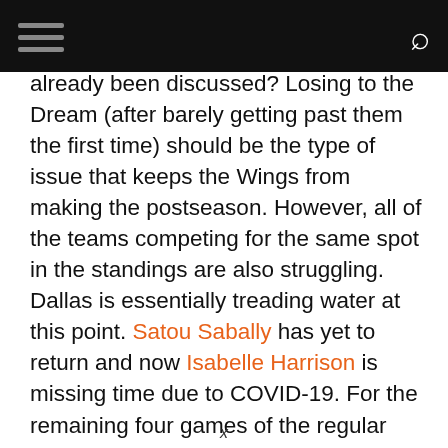[hamburger menu] [search icon]
already been discussed? Losing to the Dream (after barely getting past them the first time) should be the type of issue that keeps the Wings from making the postseason. However, all of the teams competing for the same spot in the standings are also struggling. Dallas is essentially treading water at this point. Satou Sabally has yet to return and now Isabelle Harrison is missing time due to COVID-19. For the remaining four games of the regular season, all the Wings can do is hope to survive.
x